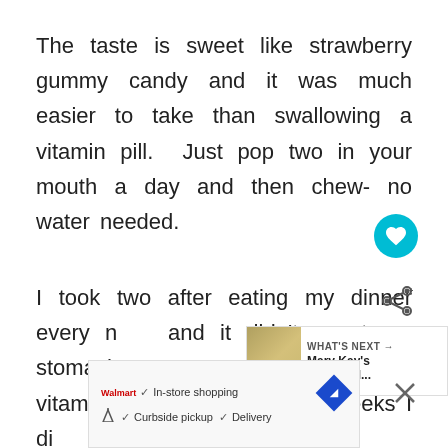The taste is sweet like strawberry gummy candy and it was much easier to take than swallowing a vitamin pill.  Just pop two in your mouth a day and then chew- no water needed.
[Figure (other): Teal circular heart/like button icon]
I took two after eating my dinner every n... and it didn't upset my stomach.  S... these vitamin gummies for several weeks I did... about I...
[Figure (other): Share icon button]
[Figure (other): What's Next overlay showing Mary Kay's Botanical... thumbnail with book cover image]
[Figure (other): Bottom advertisement banner showing Walmart shopping options: In-store shopping, Curbside pickup, Delivery with navigation icon]